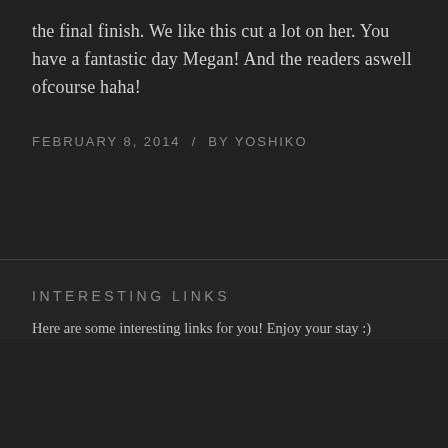the final finish. We like this cut a lot on her. You have a fantastic day Megan! And the readers aswell ofcourse haha!
FEBRUARY 8, 2014  /  BY YOSHIKO
INTERESTING LINKS
Here are some interesting links for you! Enjoy your stay :)